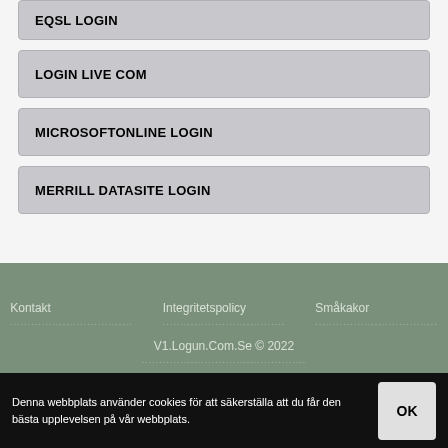EQSL LOGIN
LOGIN LIVE COM
MICROSOFTONLINE LOGIN
MERRILL DATASITE LOGIN
Kontakt   Integritetspolicy   Småkakor
V1.Logun.Com.Se © 2022
Denna webbplats använder cookies för att säkerställa att du får den bästa upplevelsen på vår webbplats.